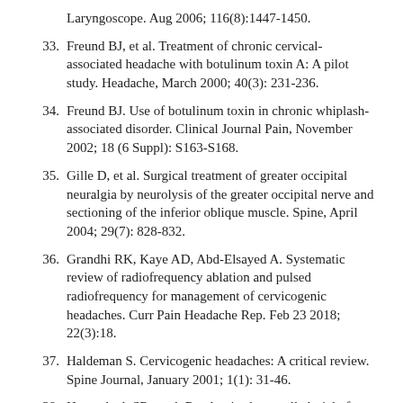Laryngoscope. Aug 2006; 116(8):1447-1450.
33. Freund BJ, et al. Treatment of chronic cervical-associated headache with botulinum toxin A: A pilot study. Headache, March 2000; 40(3): 231-236.
34. Freund BJ. Use of botulinum toxin in chronic whiplash-associated disorder. Clinical Journal Pain, November 2002; 18 (6 Suppl): S163-S168.
35. Gille D, et al. Surgical treatment of greater occipital neuralgia by neurolysis of the greater occipital nerve and sectioning of the inferior oblique muscle. Spine, April 2004; 29(7): 828-832.
36. Grandhi RK, Kaye AD, Abd-Elsayed A. Systematic review of radiofrequency ablation and pulsed radiofrequency for management of cervicogenic headaches. Curr Pain Headache Rep. Feb 23 2018; 22(3):18.
37. Haldeman S. Cervicogenic headaches: A critical review. Spine Journal, January 2001; 1(1): 31-46.
38. Haspeslagh SR, et al. Randomised controlled trial of cervical radiofrequency lesions as a treatment for cervicogenic headache. BMC Anesthesiology,